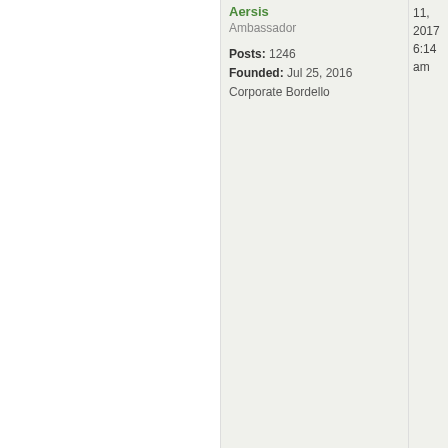Aersis
Ambassador
Posts: 1246
Founded: Jul 25, 2016
Corporate Bordello
11, 2017 6:14 am